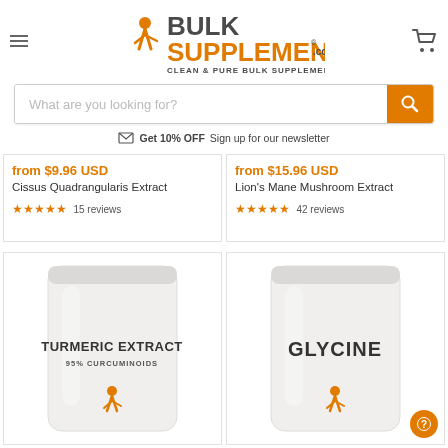[Figure (logo): BulkSupplements.com logo with orange figure, orange SUPPLEMENTS text, dark BULK text, tagline CLEAN & PURE BULK SUPPLEMENTS]
[Figure (screenshot): Search bar with placeholder 'What are you looking for?' and orange search button]
✉ Get 10% OFF Sign up for our newsletter
from $9.96 USD
Cissus Quadrangularis Extract
★★★★★ 15 reviews
from $15.96 USD
Lion's Mane Mushroom Extract
★★★★★ 42 reviews
[Figure (photo): White supplement bag labeled TURMERIC EXTRACT 95% CURCUMINOIDS with orange BulkSupplements figure]
[Figure (photo): White supplement bag labeled GLYCINE with orange BulkSupplements figure]